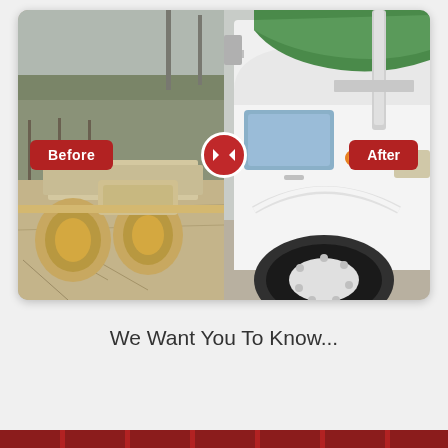[Figure (photo): Before/after comparison photo of a semi truck. Left side (Before) shows old rusty truck rear with dirty tires on a field. Right side (After) shows a clean white semi truck cab. A red circular slider divider icon sits in the middle. Red badge labels read 'Before' and 'After'.]
We Want You To Know...